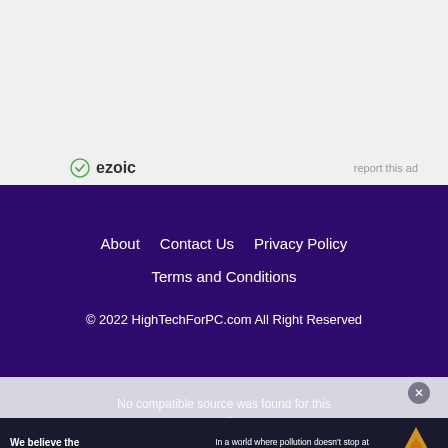[Figure (logo): Ezoic logo with circular icon and 'ezoic' text, with 'report this ad' link on the right]
About   Contact Us   Privacy Policy   Terms and Conditions
© 2022 HighTechForPC.com All Right Reserved
No compatible source was found for this media.
[Figure (infographic): Pure Earth advertisement banner: 'We believe the global pollution crisis can be solved.' with green text, joining message, and Pure Earth logo]